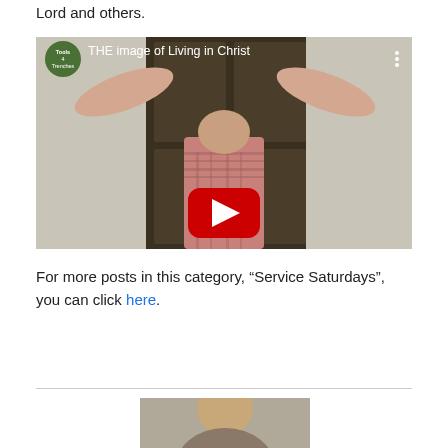Lord and others.
[Figure (screenshot): YouTube video thumbnail showing a man with arms raised above his head gripping a door frame, wearing a plaid shirt. Video title reads 'THE image of Living in Christ'. Channel icon shows 'Tools 4 Trenches'. Red YouTube play button centered on the image.]
For more posts in this category, “Service Saturdays”, you can click here.
[Figure (photo): Partial photo of a person at the bottom of the page, cropped, showing face/upper body.]